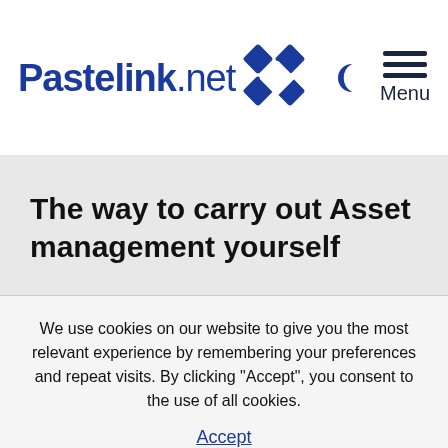Pastelink.net
The way to carry out Asset management yourself
We use cookies on our website to give you the most relevant experience by remembering your preferences and repeat visits. By clicking “Accept”, you consent to the use of all cookies.
Accept